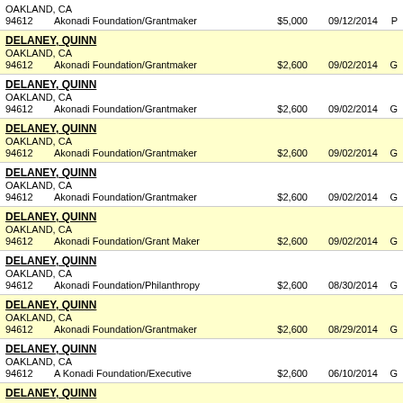| Name/Address | Employer/Occupation | Amount | Date | Code |
| --- | --- | --- | --- | --- |
| OAKLAND, CA 94612 | Akonadi Foundation/Grantmaker | $5,000 | 09/12/2014 | P |
| DELANEY, QUINN
OAKLAND, CA 94612 | Akonadi Foundation/Grantmaker | $2,600 | 09/02/2014 | G |
| DELANEY, QUINN
OAKLAND, CA 94612 | Akonadi Foundation/Grantmaker | $2,600 | 09/02/2014 | G |
| DELANEY, QUINN
OAKLAND, CA 94612 | Akonadi Foundation/Grantmaker | $2,600 | 09/02/2014 | G |
| DELANEY, QUINN
OAKLAND, CA 94612 | Akonadi Foundation/Grantmaker | $2,600 | 09/02/2014 | G |
| DELANEY, QUINN
OAKLAND, CA 94612 | Akonadi Foundation/Grant Maker | $2,600 | 09/02/2014 | G |
| DELANEY, QUINN
OAKLAND, CA 94612 | Akonadi Foundation/Philanthropy | $2,600 | 08/30/2014 | G |
| DELANEY, QUINN
OAKLAND, CA 94612 | Akonadi Foundation/Grantmaker | $2,600 | 08/29/2014 | G |
| DELANEY, QUINN
OAKLAND, CA 94612 | A Konadi Foundation/Executive | $2,600 | 06/10/2014 | G |
| DELANEY, QUINN |  |  |  |  |